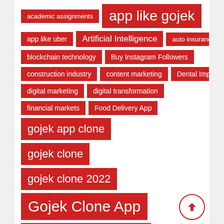academic assignments
app like gojek
app like uber
Artificial Intelligence
auto insurance
blockchain technology
Buy Instagram Followers
construction industry
content marketing
Dental Implants
digital marketing
digital transformation
financial markets
Food Delivery App
gojek app clone
gojek clone
gojek clone 2022
Gojek Clone App
gojek clone script